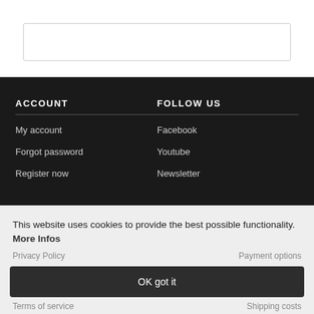ACCOUNT
My account
Forgot password
Register now
FOLLOW US
Facebook
Youtube
Newsletter
This website uses cookies to provide the best possible functionality. More Infos
Privacy Policy
Payment options
OK got it
Terms of service
Shipping costs